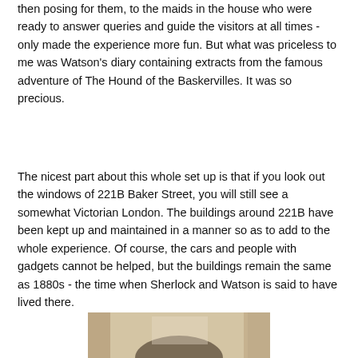then posing for them, to the maids in the house who were ready to answer queries and guide the visitors at all times - only made the experience more fun. But what was priceless to me was Watson's diary containing extracts from the famous adventure of The Hound of the Baskervilles. It was so precious.
The nicest part about this whole set up is that if you look out the windows of 221B Baker Street, you will still see a somewhat Victorian London. The buildings around 221B have been kept up and maintained in a manner so as to add to the whole experience. Of course, the cars and people with gadgets cannot be helped, but the buildings remain the same as 1880s - the time when Sherlock and Watson is said to have lived there.
[Figure (photo): Bottom portion of a photograph showing an interior scene, partially visible at the bottom of the page.]